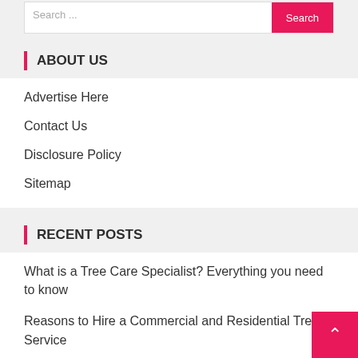Search ...
ABOUT US
Advertise Here
Contact Us
Disclosure Policy
Sitemap
RECENT POSTS
What is a Tree Care Specialist? Everything you need to know
Reasons to Hire a Commercial and Residential Tree Service
Satisfy the Argentinian medical doctors lured by Sicily's rural idyll